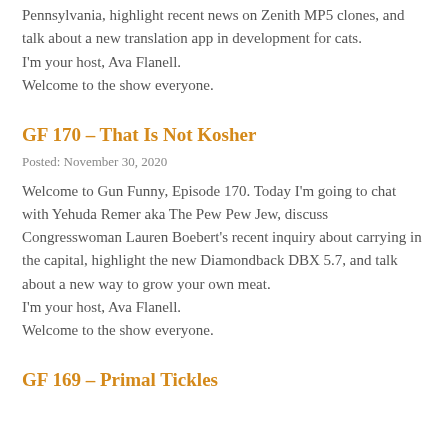Pennsylvania, highlight recent news on Zenith MP5 clones, and talk about a new translation app in development for cats.
I'm your host, Ava Flanell.
Welcome to the show everyone.
GF 170 – That Is Not Kosher
Posted: November 30, 2020
Welcome to Gun Funny, Episode 170. Today I'm going to chat with Yehuda Remer aka The Pew Pew Jew, discuss Congresswoman Lauren Boebert's recent inquiry about carrying in the capital, highlight the new Diamondback DBX 5.7, and talk about a new way to grow your own meat.
I'm your host, Ava Flanell.
Welcome to the show everyone.
GF 169 – Primal Tickles